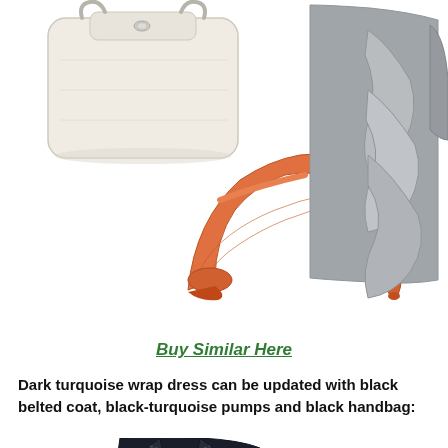[Figure (photo): Fashion collage showing a white handbag (top left), orange peep-toe high heel shoes (center), and a grey ruffled top/dress (right)]
Buy Similar Here
Dark turquoise wrap dress can be updated with black belted coat, black-turquoise pumps and black handbag:
[Figure (photo): Fashion collage showing a dark navy belted coat (Burberry, center-left), crystal drop earrings (right), and a teal/turquoise top (bottom center)]